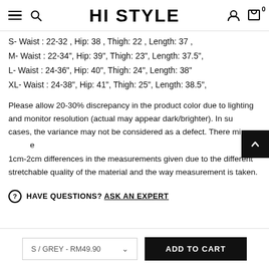HI STYLE
S- Waist : 22-32 , Hip: 38 , Thigh: 22 , Length: 37 ,
M- Waist : 22-34", Hip: 39", Thigh: 23", Length: 37.5",
L- Waist : 24-36", Hip: 40", Thigh: 24", Length: 38"
XL- Waist : 24-38", Hip: 41", Thigh: 25", Length: 38.5",
Please allow 20-30% discrepancy in the product color due to lighting and monitor resolution (actual may appear dark/brighter). In such cases, the variance may not be considered as a defect. There might be 1cm-2cm differences in the measurements given due to the different stretchable quality of the material and the way measurement is taken.
HAVE QUESTIONS? ASK AN EXPERT
S / GREY - RM49.90  ADD TO CART